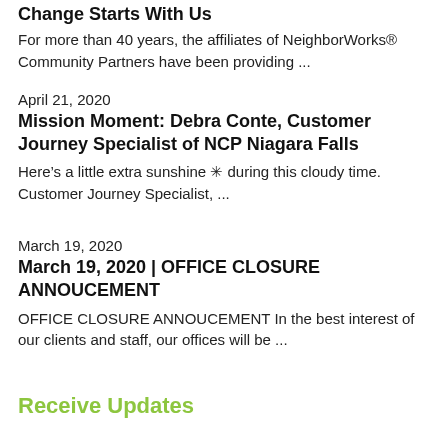Change Starts With Us
For more than 40 years, the affiliates of NeighborWorks® Community Partners have been providing ...
April 21, 2020
Mission Moment: Debra Conte, Customer Journey Specialist of NCP Niagara Falls
Here's a little extra sunshine ✳ during this cloudy time. Customer Journey Specialist, ...
March 19, 2020
March 19, 2020 | OFFICE CLOSURE ANNOUCEMENT
OFFICE CLOSURE ANNOUCEMENT In the best interest of our clients and staff, our offices will be ...
Receive Updates